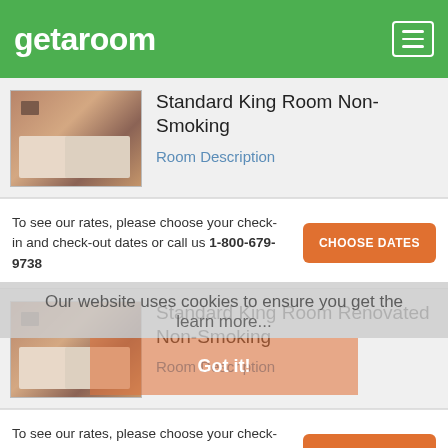getaroom
Standard King Room Non-Smoking
Room Description
To see our rates, please choose your check-in and check-out dates or call us 1-800-679-9738
CHOOSE DATES
Standard King Room Renovated Non-Smoking
Room Description
Our website uses cookies to ensure you get the
learn more...
To see our rates, please choose your check-in and check-out dates or call us 1-800-679-9738
CHOOSE DATES
Got it!
Standard King Room Smoking
Room Description